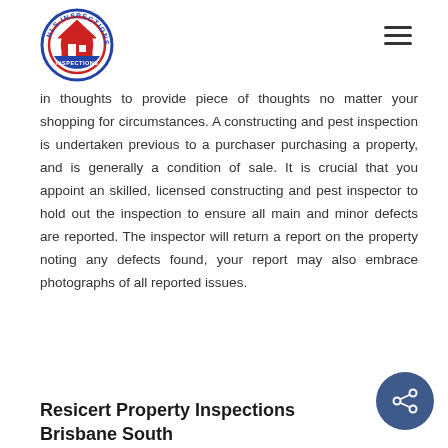[Figure (logo): NLS Inspections circular logo with house icon in red and blue]
in thoughts to provide piece of thoughts no matter your shopping for circumstances. A constructing and pest inspection is undertaken previous to a purchaser purchasing a property, and is generally a condition of sale. It is crucial that you appoint an skilled, licensed constructing and pest inspector to hold out the inspection to ensure all main and minor defects are reported. The inspector will return a report on the property noting any defects found, your report may also embrace photographs of all reported issues.
Resicert Property Inspections Brisbane South